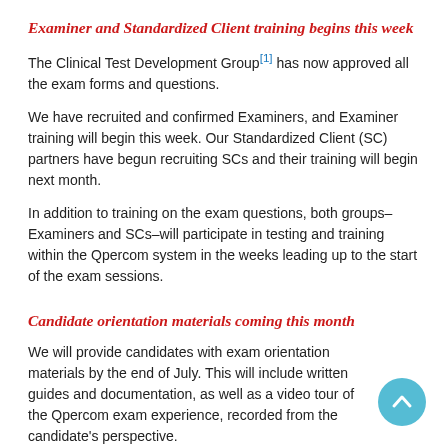Examiner and Standardized Client training begins this week
The Clinical Test Development Group[1] has now approved all the exam forms and questions.
We have recruited and confirmed Examiners, and Examiner training will begin this week. Our Standardized Client (SC) partners have begun recruiting SCs and their training will begin next month.
In addition to training on the exam questions, both groups–Examiners and SCs–will participate in testing and training within the Qpercom system in the weeks leading up to the start of the exam sessions.
Candidate orientation materials coming this month
We will provide candidates with exam orientation materials by the end of July. This will include written guides and documentation, as well as a video tour of the Qpercom exam experience, recorded from the candidate's perspective.